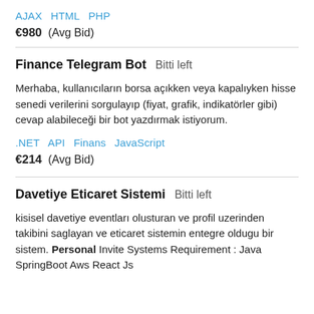AJAX   HTML   PHP
€980  (Avg Bid)
Finance Telegram Bot  Bitti left
Merhaba, kullanıcıların borsa açıkken veya kapalıyken hisse senedi verilerini sorgulayıp (fiyat, grafik, indikatörler gibi) cevap alabileceği bir bot yazdırmak istiyorum.
.NET   API   Finans   JavaScript
€214  (Avg Bid)
Davetiye Eticaret Sistemi  Bitti left
kisisel davetiye eventları olusturan ve profil uzerinden takibini saglayan ve eticaret sistemin entegre oldugu bir sistem. Personal Invite Systems Requirement : Java SpringBoot Aws React Js